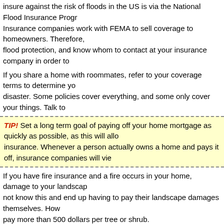insure against the risk of floods in the US is via the National Flood Insurance Program. Insurance companies work with FEMA to sell coverage to homeowners. Therefore, flood protection, and know whom to contact at your insurance company in order to
If you share a home with roommates, refer to your coverage terms to determine your disaster. Some policies cover everything, and some only cover your things. Talk to
TIP! Set a long term goal of paying off your home mortgage as quickly as possible, as this will allow insurance. Whenever a person actually owns a home and pays it off, insurance companies will view
If you have fire insurance and a fire occurs in your home, damage to your landscaping not know this and end up having to pay their landscape damages themselves. However, pay more than 500 dollars per tree or shrub.
Insurance Company
It's a good ideal to install a security system that is monitored centrally by an alarm company. mind knowing that your property is well protected, but you may also receive an insurance discount. You must prove the alarm is monitored centrally to qualify for the discount.
TIP! Get a "guaranteed replacement value" policy. This way, you are ensuring that you're able to re
If you have recently renovated your home, make sure to let your home owner's insurance disaster ruin your newly renovated home, you will be reimbursed an amount that